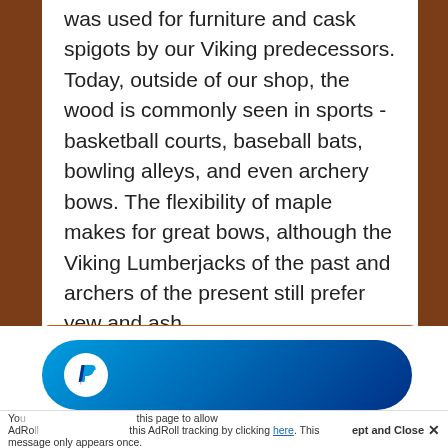was used for furniture and cask spigots by our Viking predecessors. Today, outside of our shop, the wood is commonly seen in sports - basketball courts, baseball bats, bowling alleys, and even archery bows. The flexibility of maple makes for great bows, although the Viking Lumberjacks of the past and archers of the present still prefer yew and ash.
Want a Custom Valhalla Screen? Order here.
You [partial]... this page to allow AdRoll... this AdRoll tracking by clicking here. This message only appears once.
ept and Close ✕